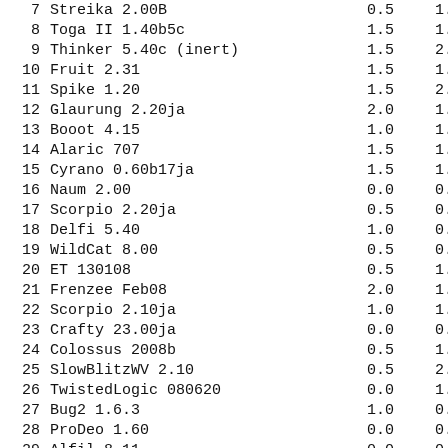| # | Name | V1 | V2 |
| --- | --- | --- | --- |
| 7 | Streika 2.00B | 0.5 | 1.5 |
| 8 | Toga II 1.40b5c | 1.5 | 1.5 |
| 9 | Thinker 5.40c (inert) | 1.5 | 2.5 |
| 10 | Fruit 2.31 | 1.5 | 1.0 |
| 11 | Spike 1.20 | 1.5 | 2.5 |
| 12 | Glaurung 2.20ja | 2.0 | 1.0 |
| 13 | Booot 4.15 | 1.0 | 1.0 |
| 14 | Alaric 707 | 1.5 | 1.0 |
| 15 | Cyrano 0.60b17ja | 1.5 | 1.0 |
| 16 | Naum 2.00 | 0.0 | 0.5 |
| 17 | Scorpio 2.20ja | 0.5 | 0.5 |
| 18 | Delfi 5.40 | 1.0 | 0.0 |
| 19 | WildCat 8.00 | 0.5 | 0.0 |
| 20 | ET 130108 | 0.5 | 1.5 |
| 21 | Frenzee Feb08 | 2.0 | 1.0 |
| 22 | Scorpio 2.10ja | 1.0 | 1.5 |
| 23 | Crafty 23.00ja | 0.0 | 0.0 |
| 24 | Colossus 2008b | 0.5 | 1.0 |
| 25 | SlowBlitzWV 2.10 | 0.5 | 2.0 |
| 26 | TwistedLogic 080620 | 0.0 | 1.5 |
| 27 | Bug2 1.6.3 | 1.0 | 0.0 |
| 28 | ProDeo 1.60 | 0.0 | 0.5 |
| 29 | Alfil 8.11 | 0.0 | 0.5 |
| 30 | Hamsters 0.71 | 1.0 | 1.0 |